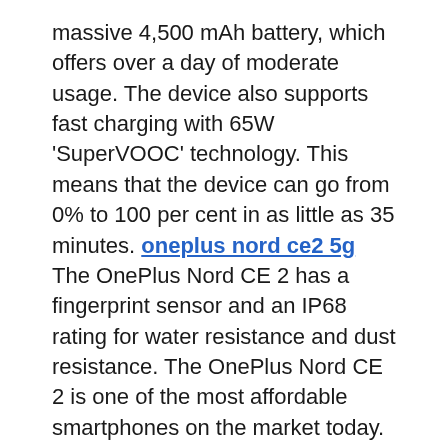massive 4,500 mAh battery, which offers over a day of moderate usage. The device also supports fast charging with 65W 'SuperVOOC' technology. This means that the device can go from 0% to 100 per cent in as little as 35 minutes. oneplus nord ce2 5g The OnePlus Nord CE 2 has a fingerprint sensor and an IP68 rating for water resistance and dust resistance. The OnePlus Nord CE 2 is one of the most affordable smartphones on the market today.
The OnePlus Nord CE 2 offers dual-SIM card slots and supports an extended micro-SD card for extra storage. You can expand storage to 1TB. The phone starts at Rs 23,999 for the 6GB RAM variant and Rs 24,999 for the 8GB version. It comes with